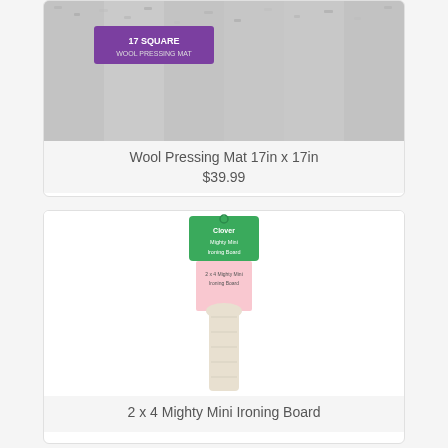[Figure (photo): Wool Pressing Mat 17in x 17in product photo showing a gray fuzzy wool mat with a purple label reading '17 SQUARE']
Wool Pressing Mat 17in x 17in
$39.99
[Figure (photo): 2 x 4 Mighty Mini Ironing Board product photo showing a long narrow cream-colored ironing board with a green hanging tag]
2 x 4 Mighty Mini Ironing Board